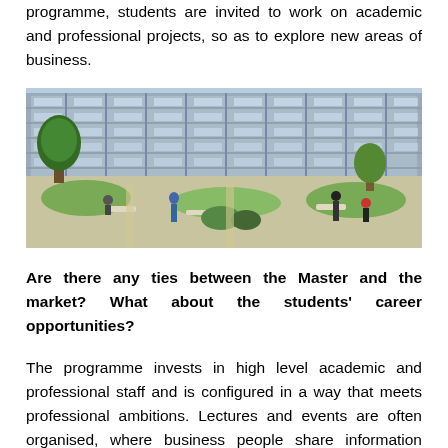programme, students are invited to work on academic and professional projects, so as to explore new areas of business.
[Figure (photo): University campus outdoor area showing students sitting and walking near modern academic buildings with trees and landscaped gardens in spring/summer.]
Are there any ties between the Master and the market? What about the students' career opportunities?
The programme invests in high level academic and professional staff and is configured in a way that meets professional ambitions. Lectures and events are often organised, where business people share information about careers in their line of business, advise students